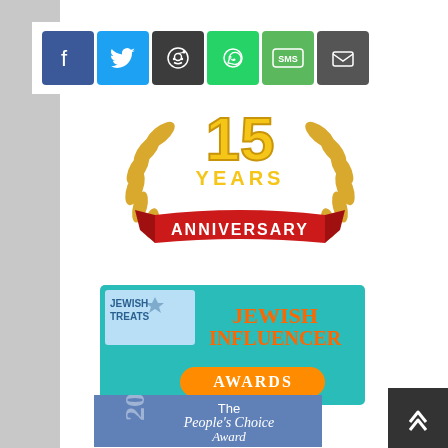[Figure (screenshot): Social sharing buttons: Facebook (blue), Twitter (light blue), Reddit (dark gray), WhatsApp (green), SMS (green), Email (dark gray)]
[Figure (illustration): Anniversary badge graphic with golden laurel wreath and red ribbon banner reading 'ANNIVERSARY']
[Figure (logo): Jewish Treats Jewish Influencer Awards badge - teal background with orange text]
[Figure (illustration): The People's Choice Award 2006 for Jewish & Israeli Blogs - Winner banner, blue/purple background]